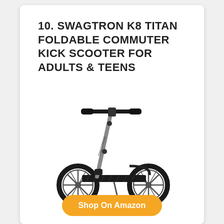10. SWAGTRON K8 TITAN FOLDABLE COMMUTER KICK SCOOTER FOR ADULTS & TEENS
[Figure (photo): A Swagtron K8 Titan foldable commuter kick scooter shown in profile view. The scooter has a gray/silver aluminum frame, black handlebars with grips, two large black wheels with spoke rims, a black deck, and a foldable design. The scooter is shown on a white background.]
Shop On Amazon